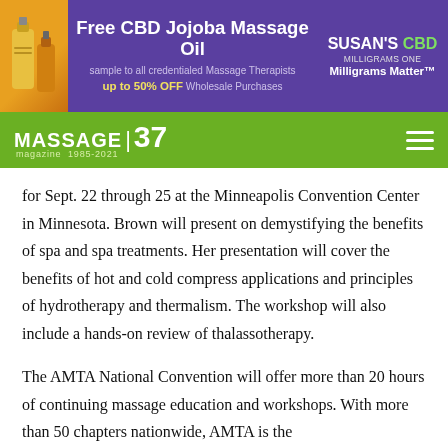[Figure (other): Advertisement banner for Free CBD Jojoba Massage Oil by Susan's CBD. Purple background with product bottles image on the left, text 'Free CBD Jojoba Massage Oil sample to all credentialed Massage Therapists up to 50% OFF Wholesale Purchases', and Susan's CBD logo with 'Milligrams Matter' tagline on the right.]
MASSAGE magazine 37 1985-2021
for Sept. 22 through 25 at the Minneapolis Convention Center in Minnesota. Brown will present on demystifying the benefits of spa and spa treatments. Her presentation will cover the benefits of hot and cold compress applications and principles of hydrotherapy and thermalism. The workshop will also include a hands-on review of thalassotherapy.
The AMTA National Convention will offer more than 20 hours of continuing massage education and workshops. With more than 50 chapters nationwide, AMTA is the